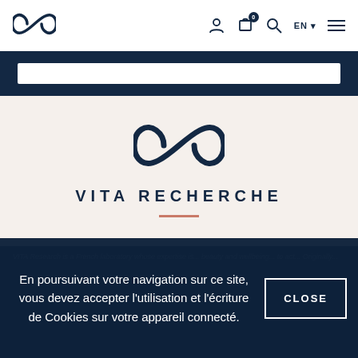[Figure (logo): Infinity loop logo (CO shape) in dark navy, top left nav]
EN  ☰ navigation icons
[Figure (logo): Large infinity loop logo centered on page]
VITA RECHERCHE
VITA Research is a French laboratory whose expertise is...
En poursuivant votre navigation sur ce site, vous devez accepter l'utilisation et l'écriture de Cookies sur votre appareil connecté.
CLOSE